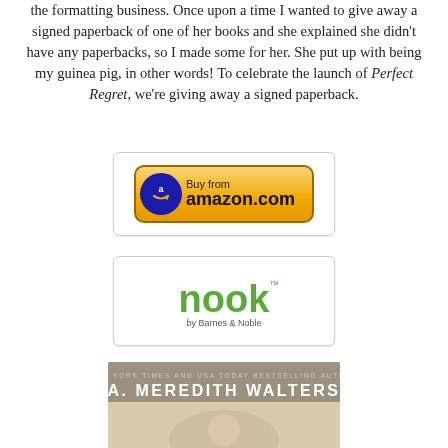the formatting business. Once upon a time I wanted to give away a signed paperback of one of her books and she explained she didn't have any paperbacks, so I made some for her. She put up with being my guinea pig, in other words! To celebrate the launch of Perfect Regret, we're giving away a signed paperback.
[Figure (logo): Buy from amazon.com button — yellow rounded rectangle with blue circle Amazon logo and bold amazon.com text]
[Figure (logo): Nook by Barnes & Noble logo — green text nook with trademark symbol and 'by Barnes & Noble' below]
[Figure (photo): Book cover for A. Meredith Walters — shows 'NEW YORK TIMES AND USA TODAY BESTSELLING AUTHOR' and 'A. MEREDITH WALTERS' in large text, partial cover image below]